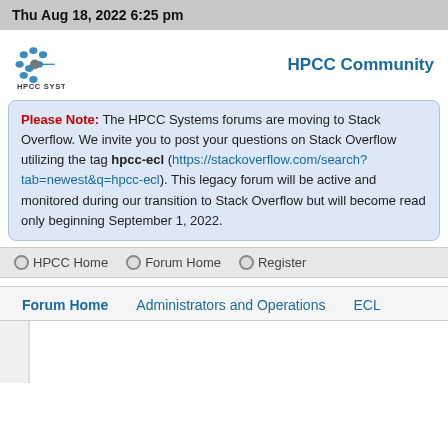Thu Aug 18, 2022 6:25 pm
[Figure (logo): HPCC Systems logo with blue dots and text]
HPCC Community
Please Note: The HPCC Systems forums are moving to Stack Overflow. We invite you to post your questions on Stack Overflow utilizing the tag hpcc-ecl (https://stackoverflow.com/search?tab=newest&q=hpcc-ecl). This legacy forum will be active and monitored during our transition to Stack Overflow but will become read only beginning September 1, 2022.
HPCC Home
Forum Home
Register
Forum Home
Administrators and Operations
ECL